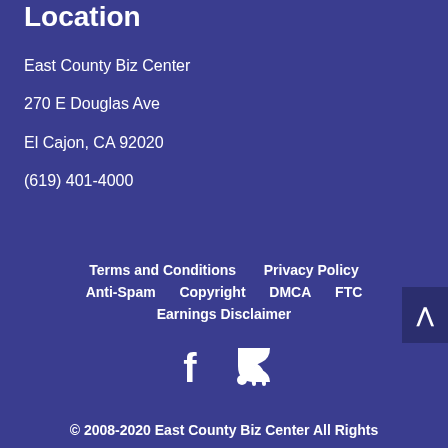Location
East County Biz Center
270 E Douglas Ave
El Cajon, CA 92020
(619) 401-4000
Terms and Conditions   Privacy Policy   Anti-Spam   Copyright   DMCA   FTC   Earnings Disclaimer
[Figure (other): Social media icons: Facebook and RSS feed]
© 2008-2020 East County Biz Center All Rights